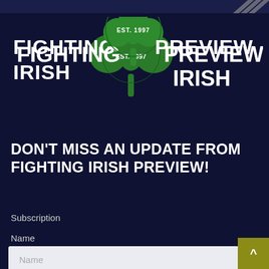[Figure (logo): Fighting Irish Preview logo with green shamrock and text 'FIGHTING IRISH PREVIEW EST. 1997']
DON'T MISS AN UPDATE FROM FIGHTING IRISH PREVIEW!
Subscription
Name
[Figure (screenshot): Name input text field with placeholder text 'Name' on light background]